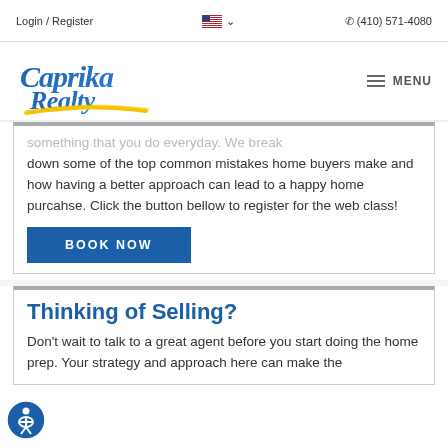Login / Register   (410) 571-4080
[Figure (logo): Caprika Realty logo with blue script text and yellow swoosh underline, with hamburger MENU icon]
something that you do everyday. We break down some of the top common mistakes home buyers make and how having a better approach can lead to a happy home purcahse. Click the button bellow to register for the web class!
BOOK NOW
Thinking of Selling?
Don't wait to talk to a great agent before you start doing the home prep. Your strategy and approach here can make the